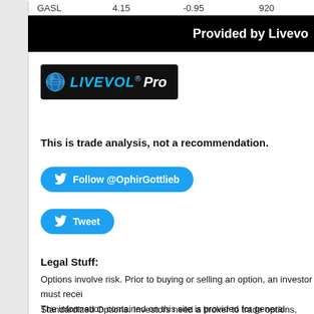| Symbol | Price | Change | Volume |
| --- | --- | --- | --- |
| GASL | 4.15 | -0.95 | 920 |
[Figure (logo): Provided by Livevol banner (black background with white text)]
[Figure (logo): Livevol Pro logo - dark background with blue LIVEVOL text and white Pro text]
This is trade analysis, not a recommendation.
[Figure (other): Twitter Follow @OphirGottlieb button (blue rounded rectangle)]
[Figure (other): Twitter Tweet button (blue rounded rectangle)]
Legal Stuff:
Options involve risk. Prior to buying or selling an option, an investor must recei... Standardized Options. Investors need a broker to trade options, and must mee...
The information contained on this site is provided for general informational pur... materials are not a substitute for obtaining professional advice from a qualified... appropriate professional advisor for more complete and current information. I a... professional services by placing these general informational materials on this w...